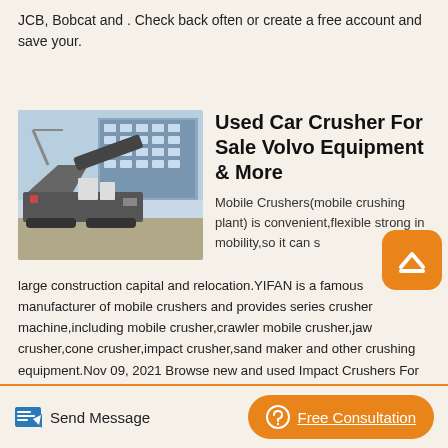JCB, Bobcat and . Check back often or create a free account and save your.
Used Car Crusher For Sale Volvo Equipment & More
[Figure (photo): Photograph of a mobile jaw crusher machine parked in front of a multi-story industrial building outdoors.]
Mobile Crushers(mobile crushing plant) is convenient,flexible strong in mobility,so it can s large construction capital and relocation.YIFAN is a famous manufacturer of mobile crushers and provides series crusher machine,including mobile crusher,crawler mobile crusher,jaw crusher,cone crusher,impact crusher,sand maker and other crushing equipment.Nov 09, 2021 Browse new and used Impact Crushers For Sale near you. Find 35 Impact Crushers by Metso, McCloskey, EvoQuip, KPI-JCI, Doosan, and an...
Send Message
Free Consultation